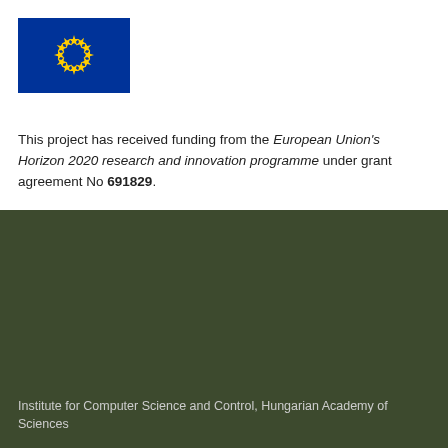[Figure (logo): European Union flag logo: blue rectangle with circle of 12 yellow stars]
This project has received funding from the European Union's Horizon 2020 research and innovation programme under grant agreement No 691829.
[Figure (logo): MTA SZTAKI logo: circular icon with stylized computer science graphic in blue and white, with text MTA SZTAKI in bold white letters on dark olive green background]
Institute for Computer Science and Control, Hungarian Academy of Sciences